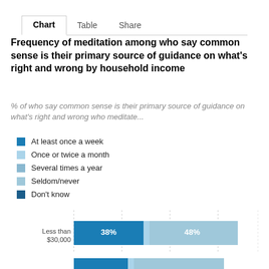Chart | Table | Share
Frequency of meditation among who say common sense is their primary source of guidance on what's right and wrong by household income
% of who say common sense is their primary source of guidance on what's right and wrong who meditate...
At least once a week
Once or twice a month
Several times a year
Seldom/never
Don't know
[Figure (stacked-bar-chart): Frequency of meditation by household income]